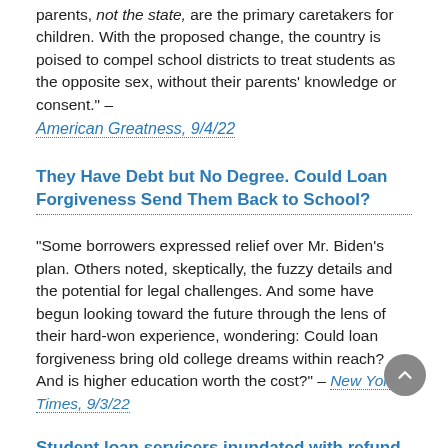parents, not the state, are the primary caretakers for children. With the proposed change, the country is poised to compel school districts to treat students as the opposite sex, without their parents' knowledge or consent." –
American Greatness, 9/4/22
They Have Debt but No Degree. Could Loan Forgiveness Send Them Back to School?
"Some borrowers expressed relief over Mr. Biden's plan. Others noted, skeptically, the fuzzy details and the potential for legal challenges. And some have begun looking toward the future through the lens of their hard-won experience, wondering: Could loan forgiveness bring old college dreams within reach? And is higher education worth the cost?" – New York Times, 9/3/22
Student loan servicers inundated with refund requests after forgiveness news